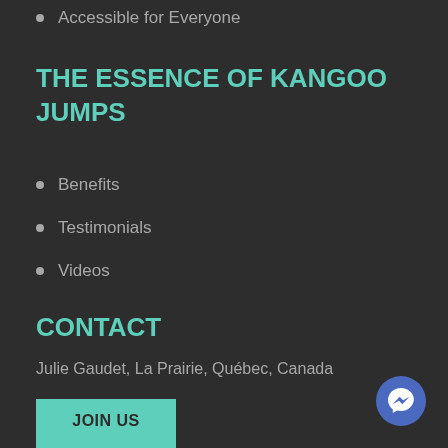Accessible for Everyone
THE ESSENCE OF KANGOO JUMPS
Benefits
Testimonials
Videos
CONTACT
Julie Gaudet, La Prairie, Québec, Canada
JOIN US